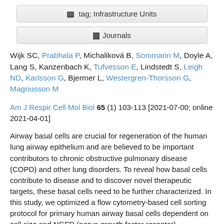Infrastructure Units
Journals
Wijk SC, Prabhala P, Michaliková B, Sommarin M, Doyle A, Lang S, Kanzenbach K, Tufvesson E, Lindstedt S, Leigh ND, Karlsson G, Bjermer L, Westergren-Thorsson G, Magnusson M
Am J Respir Cell Mol Biol 65 (1) 103-113 [2021-07-00; online 2021-04-01]
Airway basal cells are crucial for regeneration of the human lung airway epithelium and are believed to be important contributors to chronic obstructive pulmonary disease (COPD) and other lung disorders. To reveal how basal cells contribute to disease and to discover novel therapeutic targets, these basal cells need to be further characterized. In this study, we optimized a flow cytometry-based cell sorting protocol for primary human airway basal cells dependent on cell size and NGFR (nerve-growth factor receptor) expression. The basal cell population was found to be molecularly